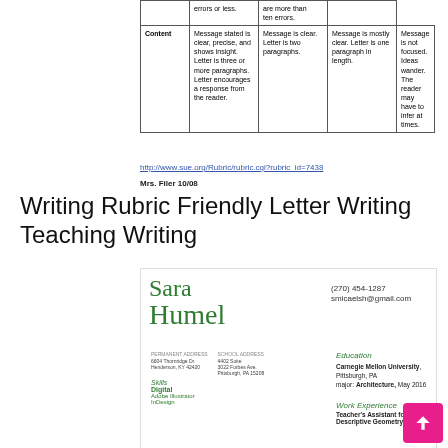|  | 4 | 3 | 2 | 1 |
| --- | --- | --- | --- | --- |
|  | errors or less. | are more than |  |
|  |  | ten errors. |  |
| Content | Message stated is clear, precise, and shows insight. Letter is three or more paragraphs. Letter encourages a response from the reader. | Message is clear. Letter is two paragraphs. | Message is mostly clear. Letter is one paragraph in length. | Message is not focused. Ideas wander. The reader may have to infer at times. |
http://www.sue.org/Rubric/rubric.cgi?rubric_id=7438
Mrs. Filer 10/08
Writing Rubric Friendly Letter Writing Teaching Writing
[Figure (other): Resume for Sara Humel showing name in green serif font, contact info (270) 454-1287 and smicaelsh@gmail.com, addresses, Skills section with Digital/Adobe Illustrator/InDesign, Education section showing Carnegie Mellon University Pittsburgh PA major Architecture May 2016, Work Experience section showing Teacher's Assistant for Descriptive Geometry]